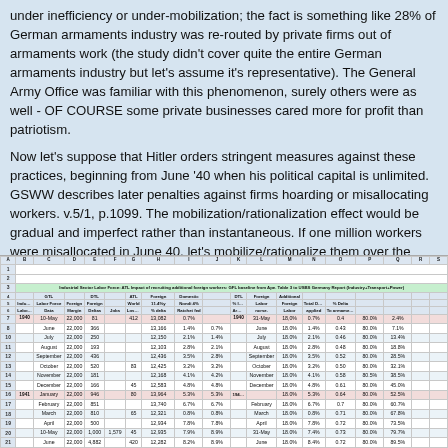under inefficiency or under-mobilization; the fact is something like 28% of German armaments industry was re-routed by private firms out of armaments work (the study didn't cover quite the entire German armaments industry but let's assume it's representative). The General Army Office was familiar with this phenomenon, surely others were as well - OF COURSE some private businesses cared more for profit than patriotism.
Now let's suppose that Hitler orders stringent measures against these practices, beginning from June '40 when his political capital is unlimited. GSWW describes later penalties against firms hoarding or misallocating workers. v.5/1, p.1099. The mobilization/rationalization effect would be gradual and imperfect rather than instantaneous. If one million workers were misallocated in June 40, let's mobilize/rationalize them over the next year, adding 83k workers to armaments output per month. The effect quantified below, in conjunction with earlier mobilization of foreign labor:
| A | B | C | D | E | F | G | H | I | J | K | L | M | N | O | P | Q | R | S |
| --- | --- | --- | --- | --- | --- | --- | --- | --- | --- | --- | --- | --- | --- | --- | --- | --- | --- | --- |
|  |  |  |  |  |  |  |  |  |  |  |  |  |  |  |  |  |  |  |
|  | Industrial Sector Labor Force: ATL Impact of recruiting additional foreign workers: GFL baseline from Ape. Table 3 to USBS Germany Report (Industry+Transport+Power) |  |  |  |  |  |  |  |  |  |  |  |  |  |  |  |  |  |
|  |  | GTL |  | DTL |  | ATL | Foreign | Domestic |  | DTL | Foreign | Additional |  |  |  |  |  |  |
|  | Industrial | Labor | Foreign | Foreign |  | Worker | 11.4%y | Nondl 4% |  | % Industrial | Labor | Foreign | Total Delta | % Delta |  |  |  |  |
|  | Labor Force | Data | Margin | Deltas | Jobs | Loss Rate | % delta | Ratchet fed |  | Armaments | ncrse. | Labor | applies | To armaments |  |  |  |  |
| 1940 | 10-May | 22,000 | 81 |  | 412 | 13,082 | 0.7% |  | 1940 | 31-May | 18,0% | 0.7% | 0.4 | 80.0% | 2.4% |  |  |  |
|  | June | 22,000 | 366 |  |  | 13,166 | 1.4% | 0.7% |  | June | 18.0% | 1.4% | 0.43 | 80.0% | 7.1% |  |  |  |
|  | July | 22,000 | 250 |  |  | 12,150 | 2.1% | 1.4% |  | July | 18.0% | 2.1% | 0.46 | 80.0% | 13.4% |  |  |  |
|  | August | 22,000 | 193 |  |  | 12,103 | 2.8% | 2.1% |  | August | 18.0% | 2.8% | 0.48 | 80.0% | 18.8% |  |  |  |
|  | September | 22,000 | 436 |  |  | 12,436 | 3.5% | 2.8% |  | September | 18.0% | 3.5% | 0.52 | 80.0% | 28.5% |  |  |  |
|  | October | 22,000 | 520 |  | 83 | 12,425 | 3.2% | 3.2% |  | October | 18.0% | 3.2% | 0.50 | 80.0% | 32.1% |  |  |  |
|  | November | 22,000 | 181 |  |  | 12,168 | 4.1% | 4.2% |  | November | 18.0% | 4.1% | 0.58 | 80.5% | 38.5% |  |  |  |
|  | December | 22,000 | 166 |  | 45 | 12,583 | 4.8% | 4.8% |  | December | 18.0% | 4.8% | 0.61 | 80.0% | 45.0% |  |  |  |
| 1941 | January | 22,000 | 946 |  | 80 | 13,964 | 5.3% | 5.3% | 1941 January | 18.0% | 5.3% | 0.64 | 80.0% | 52.5% |  |  |  |  |
|  | February | 22,000 | 851 |  |  | 13,740 | 6.7% | 6.7% |  | February | 18.0% | 6.7% | 0.7 | 80.0% | 60.7% |  |  |  |
|  | March | 22,000 | 810 |  | 65 | 12,321 | 0.8% | 0.8% |  | March | 18.0% | 0.8% | 0.71 | 80.0% | 67.8% |  |  |  |
|  | April | 22,000 | 500 |  |  | 12,934 | 7.8% | 7.8% |  | April | 18.0% | 7.8% | 0.72 | 80.0% | 73.5% |  |  |  |
|  | 10-May | 22,000 | 1,000 | 1,579 | 45 | 12,935 | 7.9% | 8.9% |  | 31-May | 18.0% | 7.4% | 0.73 | 80.0% | 79.7% |  |  |  |
|  | June | 22,000 | 4,882 |  | 420 | 12,282 | 8.2% | 8.9% |  | June | 18.0% | 8.4% | 0.72 | 80.0% | 89.5% |  |  |  |